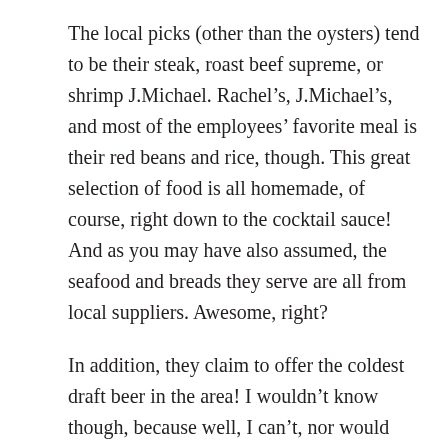The local picks (other than the oysters) tend to be their steak, roast beef supreme, or shrimp J.Michael. Rachel’s, J.Michael’s, and most of the employees’ favorite meal is their red beans and rice, though. This great selection of food is all homemade, of course, right down to the cocktail sauce! And as you may have also assumed, the seafood and breads they serve are all from local suppliers. Awesome, right?
In addition, they claim to offer the coldest draft beer in the area! I wouldn’t know though, because well, I can’t, nor would choose to drink at all. So anyway, you guys will have to find out for me, and comment below to put this mystery to rest!
The People